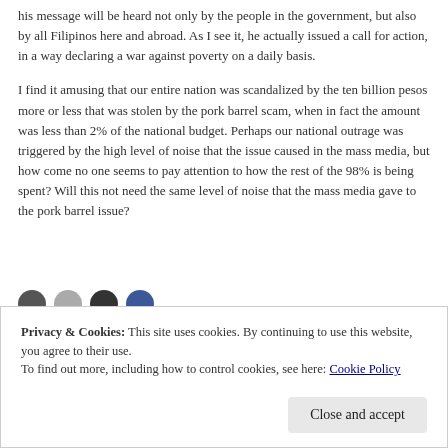his message will be heard not only by the people in the government, but also by all Filipinos here and abroad. As I see it, he actually issued a call for action, in a way declaring a war against poverty on a daily basis.
I find it amusing that our entire nation was scandalized by the ten billion pesos more or less that was stolen by the pork barrel scam, when in fact the amount was less than 2% of the national budget. Perhaps our national outrage was triggered by the high level of noise that the issue caused in the mass media, but how come no one seems to pay attention to how the rest of the 98% is being spent? Will this not need the same level of noise that the mass media gave to the pork barrel issue?
Privacy & Cookies: This site uses cookies. By continuing to use this website, you agree to their use.
To find out more, including how to control cookies, see here: Cookie Policy